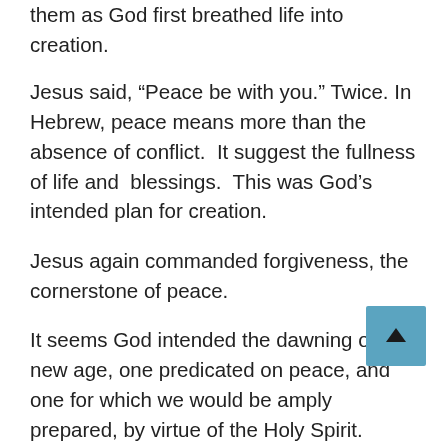them as God first breathed life into creation.
Jesus said, “Peace be with you.” Twice. In Hebrew, peace means more than the absence of conflict.  It suggest the fullness of life and  blessings.  This was God’s intended plan for creation.
Jesus again commanded forgiveness, the cornerstone of peace.
It seems God intended the dawning of a new age, one predicated on peace, and one for which we would be amply prepared, by virtue of the Holy Spirit.
As we celebrate Pentecost, how are you using the gifts of the Spirit: wisdom, understanding,